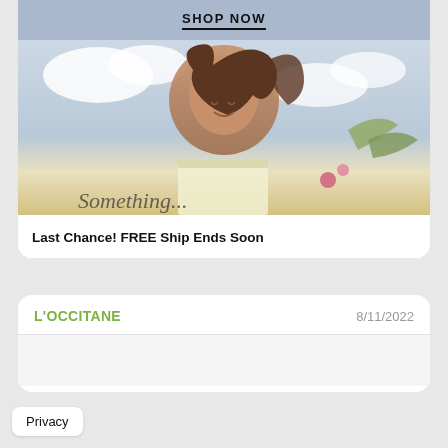SHOP NOW
[Figure (photo): Woman with flowing hair outdoors against a sky background, holding flowers or a gift, with a partially visible script text overlay at the bottom of the image.]
Last Chance! FREE Ship Ends Soon
L'OCCITANE
8/11/2022
Privacy